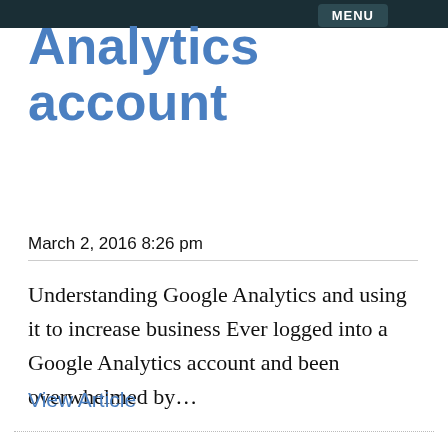MENU
Analytics account
March 2, 2016 8:26 pm
Understanding Google Analytics and using it to increase business Ever logged into a Google Analytics account and been overwhelmed by…
View Article